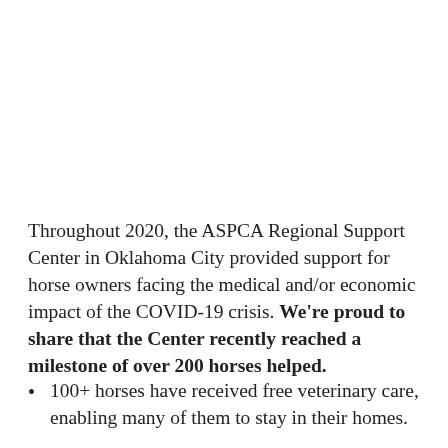Throughout 2020, the ASPCA Regional Support Center in Oklahoma City provided support for horse owners facing the medical and/or economic impact of the COVID-19 crisis. We're proud to share that the Center recently reached a milestone of over 200 horses helped.
100+ horses have received free veterinary care, enabling many of them to stay in their homes.